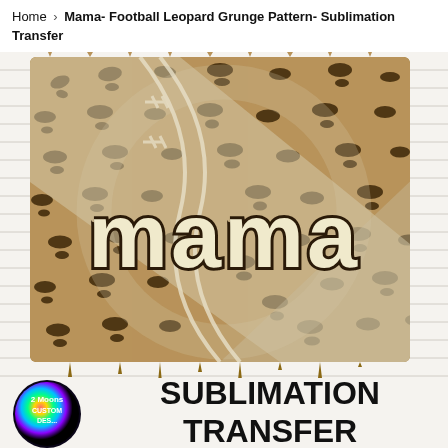Home > Mama- Football Leopard Grunge Pattern- Sublimation Transfer
[Figure (photo): Product image of a sublimation transfer design featuring the word MAMA in large outlined cream/white grunge letters on a leopard print background with football laces diagonal stripe overlay. Bottom left shows a circular logo for '2 Moons Custom Designs'. Bottom right shows bold black text 'SUBLIMATION TRANSFER'.]